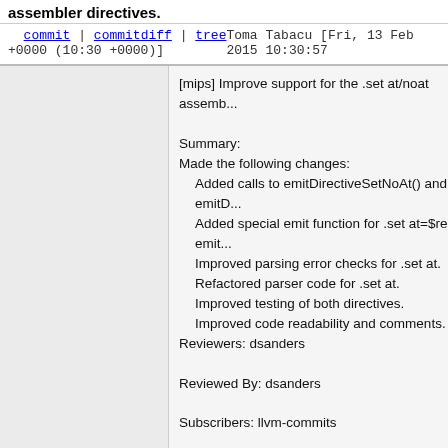assembler directives.
commit | commitdiff | tree   Toma Tabacu [Fri, 13 Feb 2015 10:30:57 +0000 (10:30 +0000)]
[mips] Improve support for the .set at/noat assemb...

Summary:
Made the following changes:
  Added calls to emitDirectiveSetNoAt() and emitD...
  Added special emit function for .set at=$reg, emit...
  Improved parsing error checks for .set at.
  Refactored parser code for .set at.
  Improved testing of both directives.
  Improved code readability and comments.

Reviewers: dsanders

Reviewed By: dsanders

Subscribers: llvm-commits

Differential Revision: http://reviews.llvm.org/D7176

git-svn-id: https://llvm.org/svn/llvm-project/llvm/trunk@229097 91177308-0d34-0410-b5e6-96231b3b80d8
7 years ago   [PM] Update the examples to reflect the removal of the